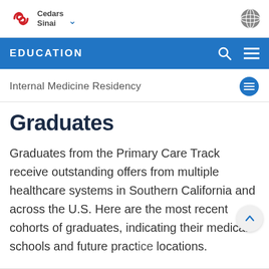[Figure (logo): Cedars-Sinai logo with globe icon in top navigation bar]
EDUCATION
Internal Medicine Residency
Graduates
Graduates from the Primary Care Track receive outstanding offers from multiple healthcare systems in Southern California and across the U.S. Here are the most recent cohorts of graduates, indicating their medical schools and future practice locations.